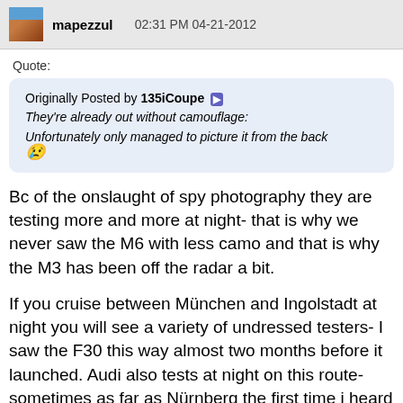mapezzul 02:31 PM 04-21-2012
Quote:
Originally Posted by 135iCoupe ▶
They're already out without camouflage:

Unfortunately only managed to picture it from the back 😢
Bc of the onslaught of spy photography they are testing more and more at night- that is why we never saw the M6 with less camo and that is why the M3 has been off the radar a bit.
If you cruise between München and Ingolstadt at night you will see a variety of undressed testers- I saw the F30 this way almost two months before it launched. Audi also tests at night on this route- sometimes as far as Nürnberg the first time i heard the R8 GT rumble I was drooling... and the pi couldn't keep up. They often stop at rest areas